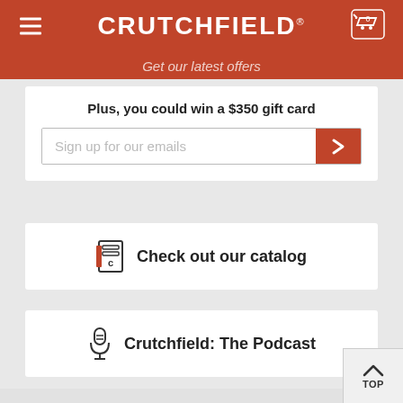CRUTCHFIELD
Get our latest offers
Plus, you could win a $350 gift card
Sign up for our emails
Check out our catalog
Crutchfield: The Podcast
YOUR PRIVACY
Privacy policy